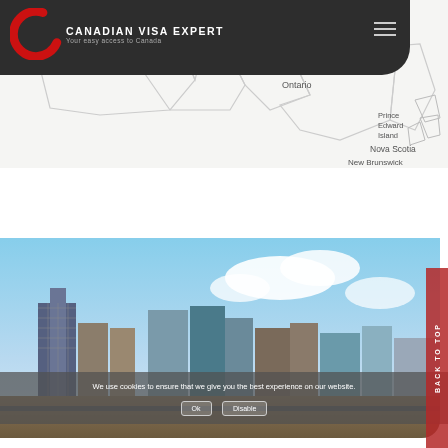[Figure (logo): Canadian Visa Expert logo with red C and white text reading CANADIAN VISA EXPERT / Your easy access to Canada on dark background header bar]
[Figure (map): Partial map of Canada showing provinces Ontario, Prince Edward Island, Nova Scotia, New Brunswick labeled in grey on white background]
[Figure (photo): Photo of a Canadian city skyline (Calgary) with tall modern buildings and blue sky with clouds]
We use cookies to ensure that we give you the best experience on our website.
Ok Disable
BACK TO TOP